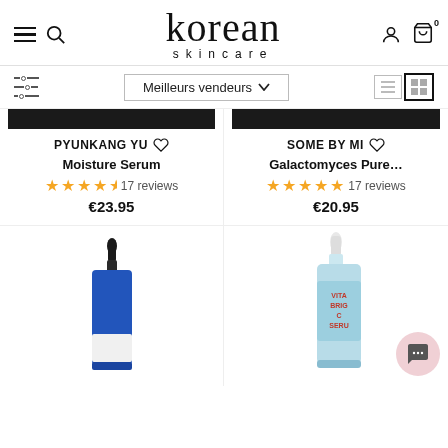korean skincare — navigation header with hamburger, search, user, cart icons
Meilleurs vendeurs
PYUNKANG YU — Moisture Serum — 17 reviews — €23.95
SOME BY MI — Galactomyces Pure… — 17 reviews — €20.95
[Figure (photo): Blue dropper serum bottle (Pyunkang Yu Moisture Serum)]
[Figure (photo): Light blue dropper serum bottle with VITA BRIG SERU text (Some By Mi Galactomyces Pure Vitamin C Serum)]